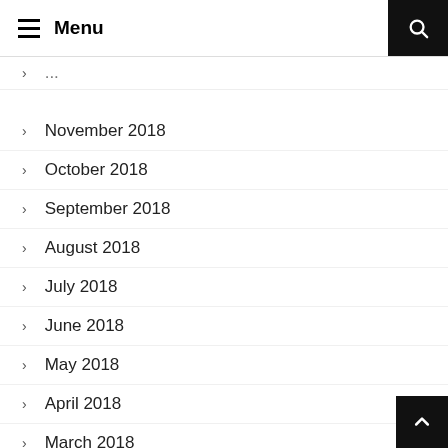≡ Menu
> November 2018
> October 2018
> September 2018
> August 2018
> July 2018
> June 2018
> May 2018
> April 2018
> March 2018
> February 2018